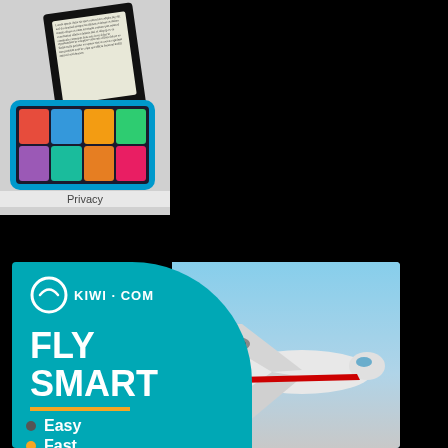[Figure (photo): Amazon devices photo showing a Kindle e-reader and a blue kids' Fire tablet with colorful app icons, with 'Privacy' label at bottom]
Privacy
[Figure (infographic): Kiwi.com advertisement with teal background, airplane photo on right side, Kiwi.com logo, 'FLY SMART' text, orange divider line, bullet points: Easy, Fast]